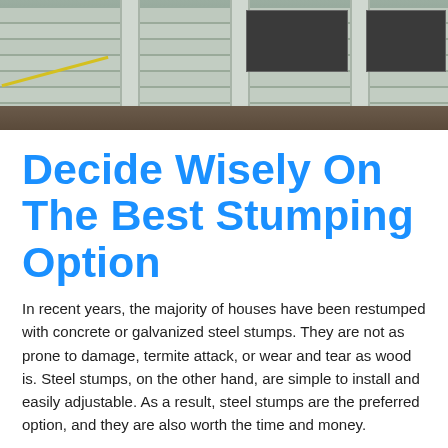[Figure (photo): Photograph of a house being restumped, showing wooden/concrete horizontal beams and vertical support stumps with soil/dirt visible at the base and dark window openings in the background.]
Decide Wisely On The Best Stumping Option
In recent years, the majority of houses have been restumped with concrete or galvanized steel stumps. They are not as prone to damage, termite attack, or wear and tear as wood is. Steel stumps, on the other hand, are simple to install and easily adjustable. As a result, steel stumps are the preferred option, and they are also worth the time and money.